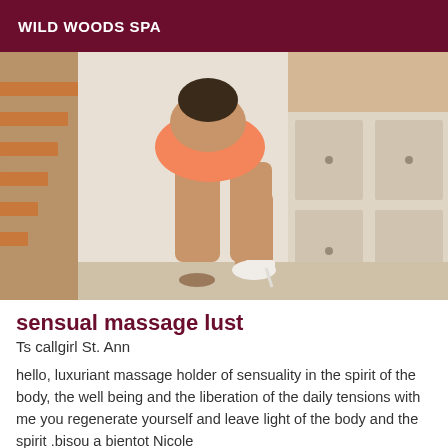WILD WOODS SPA
[Figure (photo): Photo of a person wearing an orange/coral mini dress and white high heels, posing near stairs and white cabinets in an indoor setting.]
sensual massage lust
Ts callgirl St. Ann
hello, luxuriant massage holder of sensuality in the spirit of the body, the well being and the liberation of the daily tensions with me you regenerate yourself and leave light of the body and the spirit .bisou a bientot Nicole